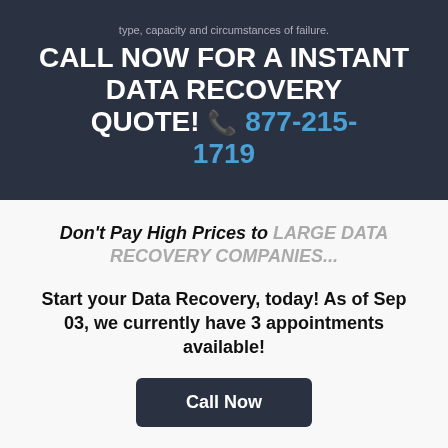type, capacity and circumstances of failure.
CALL NOW FOR A INSTANT DATA RECOVERY QUOTE! 877-215-1719
Don't Pay High Prices to LARGE DATA RECOVERY COMPANIES...
Start your Data Recovery, today! As of Sep 03, we currently have 3 appointments available!
Call Now